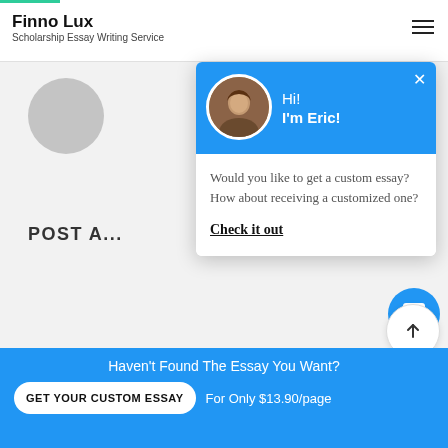Finno Lux — Scholarship Essay Writing Service
[Figure (screenshot): Chat popup widget with blue header showing a photo of Eric, greeting 'Hi! I'm Eric!', and message body with text 'Would you like to get a custom essay? How about receiving a customized one?' and a bold underlined link 'Check it out']
POST A...
Would you like to get a custom essay? How about receiving a customized one?
Check it out
Haven't Found The Essay You Want? GET YOUR CUSTOM ESSAY For Only $13.90/page